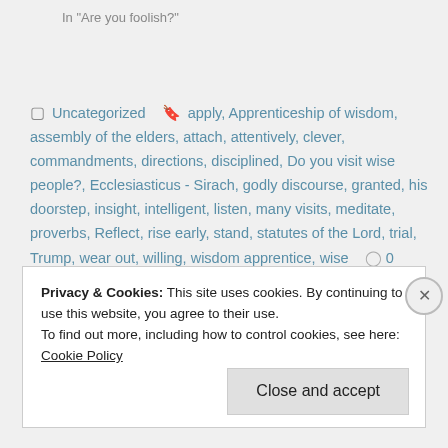In "Are you foolish?"
Uncategorized  apply, Apprenticeship of wisdom, assembly of the elders, attach, attentively, clever, commandments, directions, disciplined, Do you visit wise people?, Ecclesiasticus - Sirach, godly discourse, granted, his doorstep, insight, intelligent, listen, many visits, meditate, proverbs, Reflect, rise early, stand, statutes of the Lord, trial, Trump, wear out, willing, wisdom apprentice, wise  0 Comments
Privacy & Cookies: This site uses cookies. By continuing to use this website, you agree to their use.
To find out more, including how to control cookies, see here: Cookie Policy
Close and accept